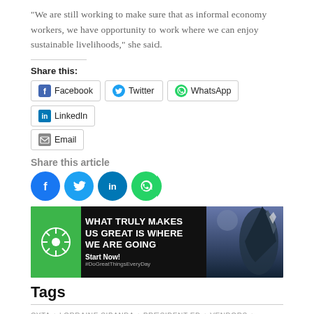"We are still working to make sure that as informal economy workers, we have opportunity to work where we can enjoy sustainable livelihoods," she said.
Share this:
[Figure (infographic): Social share buttons: Facebook, Twitter, WhatsApp, LinkedIn, Email]
Share this article
[Figure (infographic): Circular social media icons: Facebook (blue), Twitter (light blue), LinkedIn (dark blue with border), WhatsApp (green)]
[Figure (infographic): Banner advertisement: dark background with green left panel showing a flower/leaf icon. Text reads: WHAT TRULY MAKES US GREAT IS WHERE WE ARE GOING. Start Now! #DoGreatThingsEveryDay. Right side shows a person climbing a rock cliff in dark/dramatic lighting.]
Tags
CYTA + LORRAINE SIBANDA + PRESIDENT ED + VENDORS +